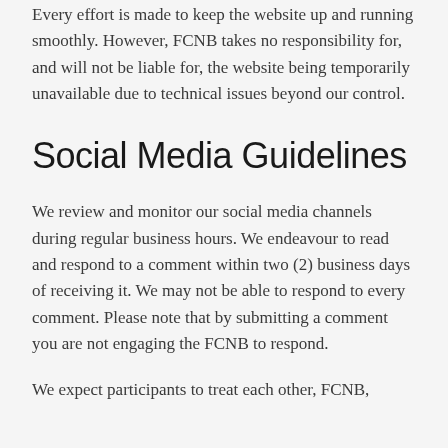Every effort is made to keep the website up and running smoothly. However, FCNB takes no responsibility for, and will not be liable for, the website being temporarily unavailable due to technical issues beyond our control.
Social Media Guidelines
We review and monitor our social media channels during regular business hours. We endeavour to read and respond to a comment within two (2) business days of receiving it. We may not be able to respond to every comment. Please note that by submitting a comment you are not engaging the FCNB to respond.
We expect participants to treat each other, FCNB,